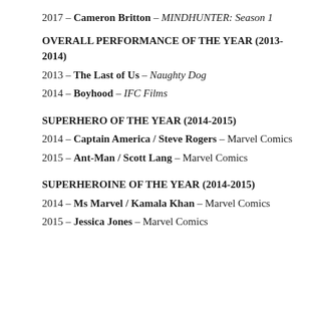2017 – Cameron Britton – MINDHUNTER: Season 1
OVERALL PERFORMANCE OF THE YEAR (2013-2014)
2013 – The Last of Us – Naughty Dog
2014 – Boyhood – IFC Films
SUPERHERO OF THE YEAR (2014-2015)
2014 – Captain America / Steve Rogers – Marvel Comics
2015 – Ant-Man / Scott Lang – Marvel Comics
SUPERHEROINE OF THE YEAR (2014-2015)
2014 – Ms Marvel / Kamala Khan – Marvel Comics
2015 – Jessica Jones – Marvel Comics